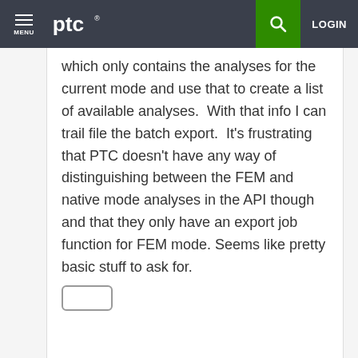MENU | ptc® | LOGIN
which only contains the analyses for the current mode and use that to create a list of available analyses.  With that info I can trail file the batch export.  It's frustrating that PTC doesn't have any way of distinguishing between the FEM and native mode analyses in the API though and that they only have an export job function for FEM mode.  Seems like pretty basic stuff to ask for.